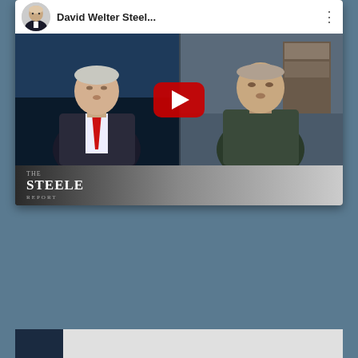[Figure (screenshot): YouTube video card thumbnail showing 'David Welter Steel...' with a play button overlay. The thumbnail shows two men side by side — one in a suit with a red tie on the left, and one in a dark shirt on the right. The bottom of the video shows a 'THE STEELE REPORT' logo. A circular avatar of a bald man in a suit appears in the top-left corner of the card.]